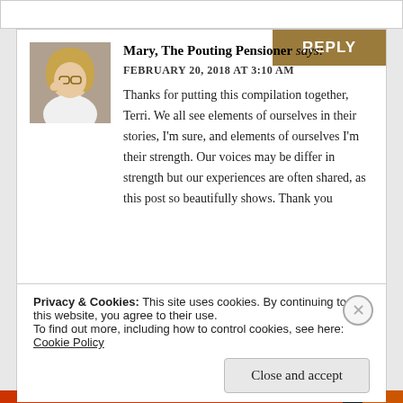[Figure (photo): Avatar photo of a middle-aged blonde woman with glasses, hand raised to her head, wearing a white top.]
Mary, The Pouting Pensioner says:
FEBRUARY 20, 2018 AT 3:10 AM
Thanks for putting this compilation together, Terri. We all see elements of ourselves in their stories, I'm sure, and elements of ourselves I'm their strength. Our voices may be differ in strength but our experiences are often shared, as this post so beautifully shows. Thank you
REPLY
Privacy & Cookies: This site uses cookies. By continuing to use this website, you agree to their use.
To find out more, including how to control cookies, see here: Cookie Policy
Close and accept